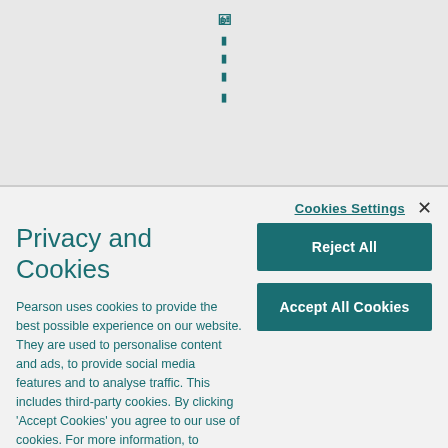[Figure (screenshot): Top portion of Pearson website showing teal navigation icons before cookie modal]
Cookies Settings
Privacy and Cookies
Pearson uses cookies to provide the best possible experience on our website. They are used to personalise content and ads, to provide social media features and to analyse traffic. This includes third-party cookies. By clicking 'Accept Cookies' you agree to our use of cookies. For more information, to manage or disable cookies, please click 'Cookie Settings.' Learn more
Reject All
Accept All Cookies